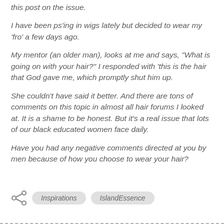this post on the issue.
I have been ps'ing in wigs lately but decided to wear my 'fro' a few days ago.
My mentor (an older man), looks at me and says, "What is going on with your hair?" I responded with 'this is the hair that God gave me, which promptly shut him up.
She couldn't have said it better. And there are tons of comments on this topic in almost all hair forums I looked at. It is a shame to be honest. But its a real issue that lots of our black educated women face daily.
Have you had any negative comments directed at you by men because of how you choose to wear your hair?
Inspirations   IslandEssence